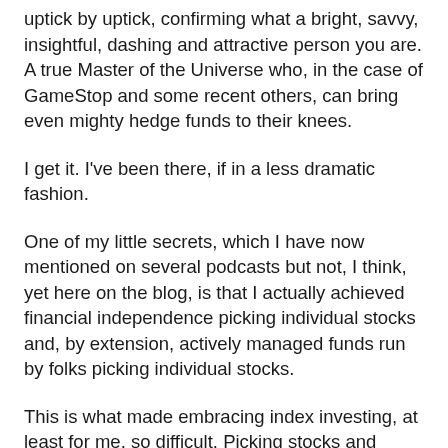uptick by uptick, confirming what a bright, savvy, insightful, dashing and attractive person you are. A true Master of the Universe who, in the case of GameStop and some recent others, can bring even mighty hedge funds to their knees.
I get it. I've been there, if in a less dramatic fashion.
One of my little secrets, which I have now mentioned on several podcasts but not, I think, yet here on the blog, is that I actually achieved financial independence picking individual stocks and, by extension, actively managed funds run by folks picking individual stocks.
This is what made embracing index investing, at least for me, so difficult. Picking stocks and funds, done well, works. It just doesn't work as well or as easily or as